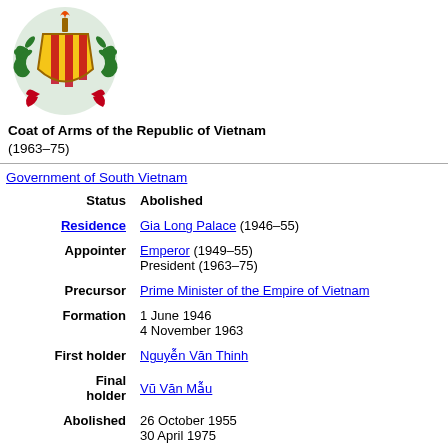[Figure (illustration): Coat of Arms of the Republic of Vietnam — colorful heraldic emblem with green dragons, yellow shield with red vertical stripes, and red phoenix birds at the base]
Coat of Arms of the Republic of Vietnam (1963–75)
| Government of South Vietnam |  |
| Status | Abolished |
| Residence | Gia Long Palace (1946–55) |
| Appointer | Emperor (1949–55)
President (1963–75) |
| Precursor | Prime Minister of the Empire of Vietnam |
| Formation | 1 June 1946
4 November 1963 |
| First holder | Nguyễn Văn Thinh |
| Final holder | Vũ Văn Mẫu |
| Abolished | 26 October 1955
30 April 1975 |
| Succession | Chairman of the Provisional Revolutionary Government |